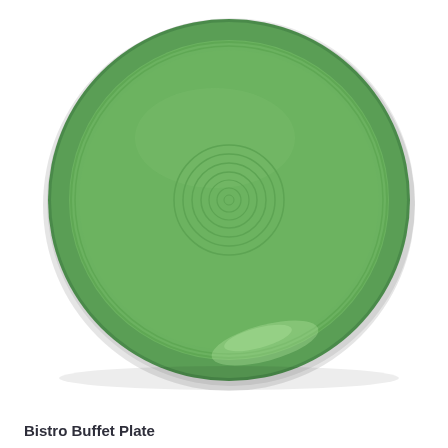[Figure (photo): Top-down view of a round ceramic Bistro Buffet Plate in sage/meadow green color with concentric ring detail in center and raised rim edge, showing light reflection at bottom.]
Bistro Buffet Plate